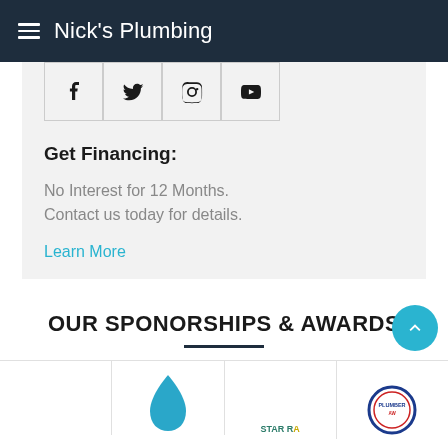Nick's Plumbing
[Figure (screenshot): Social media icons row: Facebook, Twitter, Instagram, YouTube — each in a bordered box]
Get Financing:
No Interest for 12 Months. Contact us today for details.
Learn More
OUR SPONORSHIPS & AWARDS
[Figure (logo): Sponsorship and awards logos row: four partially visible logos including BBB, Star Rating, and Plumber Award]